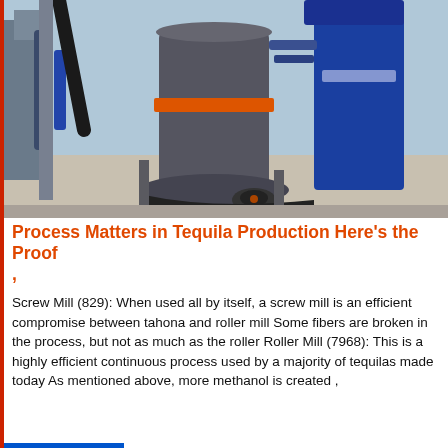[Figure (photo): Industrial milling equipment — large grey cylindrical vertical mill with orange band/collar in center, blue tanks/silos in background, outdoor industrial facility setting, daylight, concrete ground.]
Process Matters in Tequila Production Here's the Proof ,
Screw Mill (829): When used all by itself, a screw mill is an efficient compromise between tahona and roller mill Some fibers are broken in the process, but not as much as the roller Roller Mill (7968): This is a highly efficient continuous process used by a majority of tequilas made today As mentioned above, more methanol is created ,